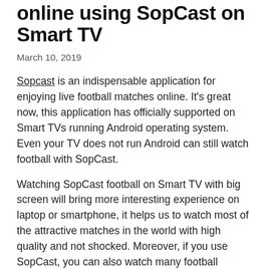online using SopCast on Smart TV
March 10, 2019
Sopcast is an indispensable application for enjoying live football matches online. It's great now, this application has officially supported on Smart TVs running Android operating system. Even your TV does not run Android can still watch football with SopCast.
Watching SopCast football on Smart TV with big screen will bring more interesting experience on laptop or smartphone, it helps us to watch most of the attractive matches in the world with high quality and not shocked. Moreover, if you use SopCast, you can also watch many football matches that regular TV or other applications on TV cannot see.